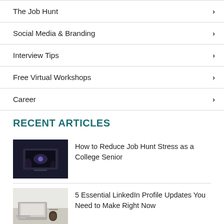The Job Hunt
Social Media & Branding
Interview Tips
Free Virtual Workshops
Career
RECENT ARTICLES
[Figure (photo): Person working on laptop in dark room]
How to Reduce Job Hunt Stress as a College Senior
[Figure (photo): Laptop and coffee on a desk in bright room]
5 Essential LinkedIn Profile Updates You Need to Make Right Now